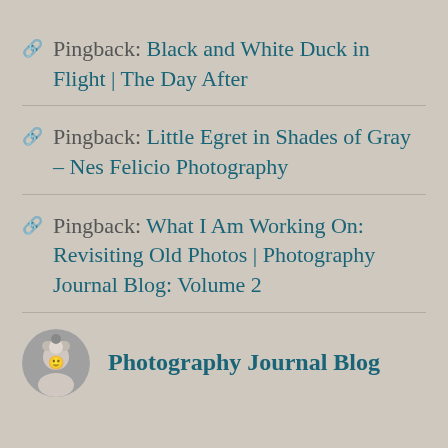Pingback: Black and White Duck in Flight | The Day After
Pingback: Little Egret in Shades of Gray – Nes Felicio Photography
Pingback: What I Am Working On: Revisiting Old Photos | Photography Journal Blog: Volume 2
Photography Journal Blog